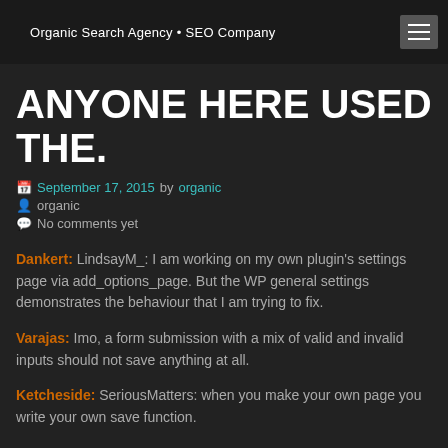Organic Search Agency • SEO Company
ANYONE HERE USED THE.
September 17, 2015 by organic
organic
No comments yet
Dankert: LindsayM_: I am working on my own plugin's settings page via add_options_page. But the WP general settings demonstrates the behaviour that I am trying to fix.
Varajas: Imo, a form submission with a mix of valid and invalid inputs should not save anything at all.
Ketcheside: SeriousMatters: when you make your own page you write your own save function.